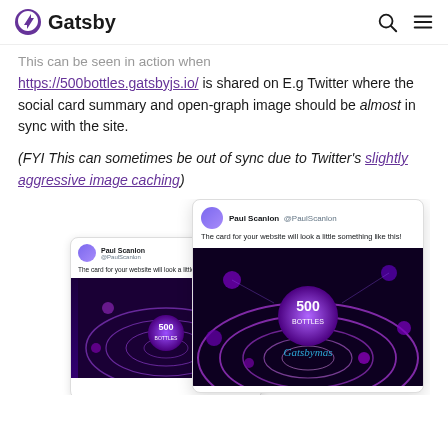Gatsby
This can be seen in action when https://500bottles.gatsbyjs.io/ is shared on E.g Twitter where the social card summary and open-graph image should be almost in sync with the site.
(FYI This can sometimes be out of sync due to Twitter's slightly aggressive image caching)
[Figure (screenshot): Two overlapping screenshots of Twitter/social cards showing a tweet from Paul Scanlon (@PaulScanlon) with text 'The card for your website will look a little something like this!' and an image of the 500bottles.gatsbyjs.io site featuring a dark purple swirling cosmic/space themed image with '500 BOTTLES' text in the center.]